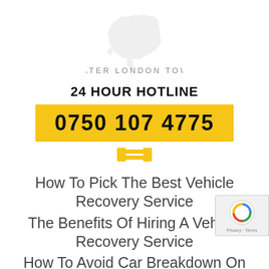[Figure (logo): Greater London Towing logo with London map silhouette in light grey and text 'GREATER LONDON TOWING']
24 HOUR HOTLINE
0750 107 4775
[Figure (other): Yellow square menu/hamburger button with three white horizontal lines]
How To Pick The Best Vehicle Recovery Service
The Benefits Of Hiring A Vehicle Recovery Service
How To Avoid Car Breakdown On